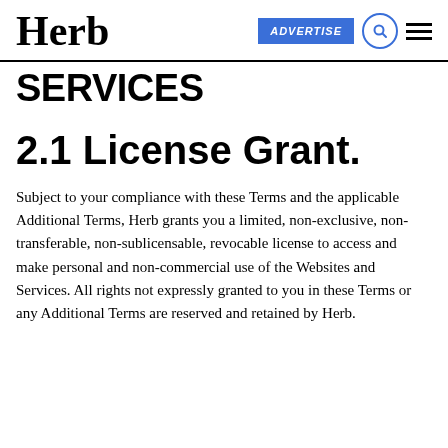Herb | ADVERTISE
SERVICES
2.1 License Grant.
Subject to your compliance with these Terms and the applicable Additional Terms, Herb grants you a limited, non-exclusive, non-transferable, non-sublicensable, revocable license to access and make personal and non-commercial use of the Websites and Services. All rights not expressly granted to you in these Terms or any Additional Terms are reserved and retained by Herb.